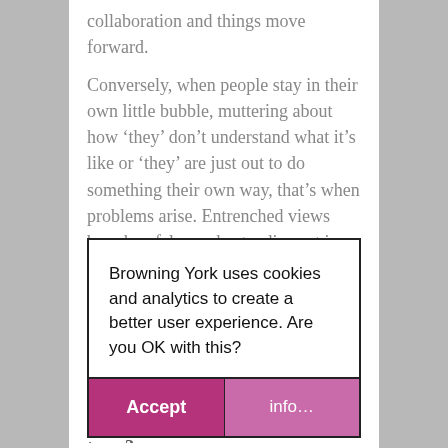collaboration and things move forward.
Conversely, when people stay in their own little bubble, muttering about how ‘they’ don’t understand what it’s like or ‘they’ are just out to do something their own way, that’s when problems arise. Entrenched views based on false understanding set in.
I recommend that, whatever your role, you take t… maki… collea…
Do y… diffe… getting involved with your project team?
[Figure (screenshot): Cookie consent modal dialog from Browning York website. Text: 'Browning York uses cookies and analytics to create a better user experience. Are you OK with this?' Two buttons: 'Accept' (magenta/pink) and 'info...' (lighter pink/mauve).]